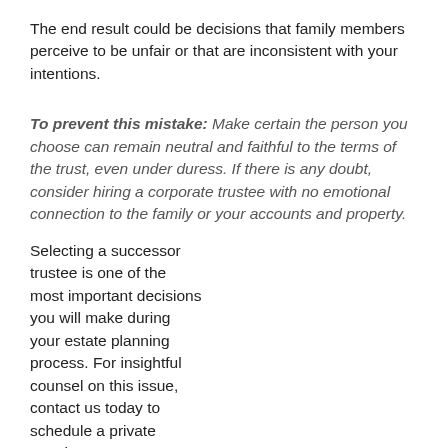The end result could be decisions that family members perceive to be unfair or that are inconsistent with your intentions.
To prevent this mistake: Make certain the person you choose can remain neutral and faithful to the terms of the trust, even under duress. If there is any doubt, consider hiring a corporate trustee with no emotional connection to the family or your accounts and property.
Selecting a successor trustee is one of the most important decisions you will make during your estate planning process. For insightful counsel on this issue, contact us today to schedule a private appointment. We are available for in-person or virtual appointments, whichever you prefer.
[Figure (other): Blue rounded button labeled 'Client Services Director powered by Calendly']